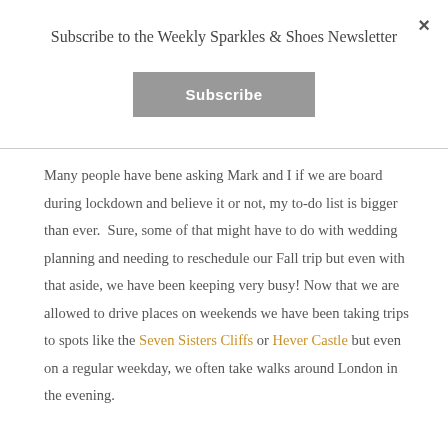×
Subscribe to the Weekly Sparkles & Shoes Newsletter
Subscribe
Many people have bene asking Mark and I if we are board during lockdown and believe it or not, my to-do list is bigger than ever.  Sure, some of that might have to do with wedding planning and needing to reschedule our Fall trip but even with that aside, we have been keeping very busy! Now that we are allowed to drive places on weekends we have been taking trips to spots like the Seven Sisters Cliffs or Hever Castle but even on a regular weekday, we often take walks around London in the evening.